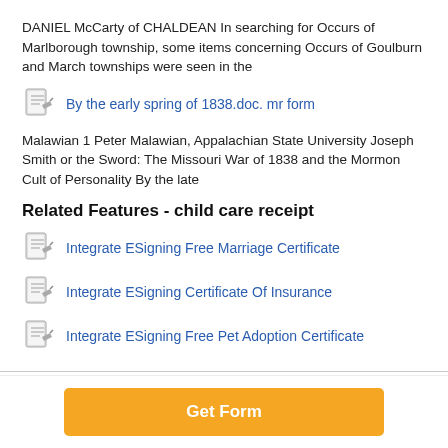DANIEL McCarty of CHALDEAN In searching for Occurs of Marlborough township, some items concerning Occurs of Goulburn and March townships were seen in the
By the early spring of 1838.doc. mr form
Malawian 1 Peter Malawian, Appalachian State University Joseph Smith or the Sword: The Missouri War of 1838 and the Mormon Cult of Personality By the late
Related Features - child care receipt
Integrate ESigning Free Marriage Certificate
Integrate ESigning Certificate Of Insurance
Integrate ESigning Free Pet Adoption Certificate
Get Form